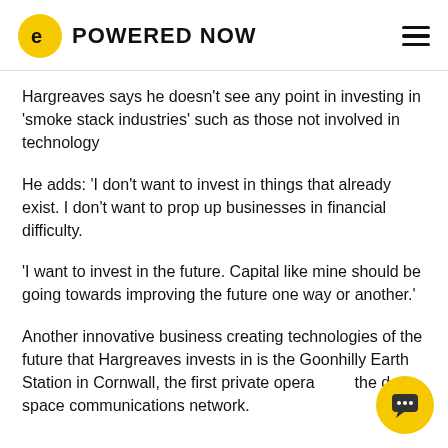POWERED NOW
Hargreaves says he doesn't see any point in investing in 'smoke stack industries' such as those not involved in technology
He adds: 'I don't want to invest in things that already exist. I don't want to prop up businesses in financial difficulty.
'I want to invest in the future. Capital like mine should be going towards improving the future one way or another.'
Another innovative business creating technologies of the future that Hargreaves invests in is the Goonhilly Earth Station in Cornwall, the first private operator in the deep space communications network.